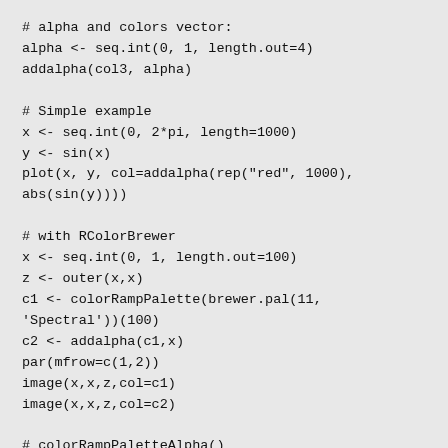# alpha and colors vector:
alpha <- seq.int(0, 1, length.out=4)
addalpha(col3, alpha)

# Simple example
x <- seq.int(0, 2*pi, length=1000)
y <- sin(x)
plot(x, y, col=addalpha(rep("red", 1000),
abs(sin(y))))

# with RColorBrewer
x <- seq.int(0, 1, length.out=100)
z <- outer(x,x)
c1 <- colorRampPalette(brewer.pal(11,
'Spectral'))(100)
c2 <- addalpha(c1,x)
par(mfrow=c(1,2))
image(x,x,z,col=c1)
image(x,x,z,col=c2)

# colorRampPaletteAlpha()